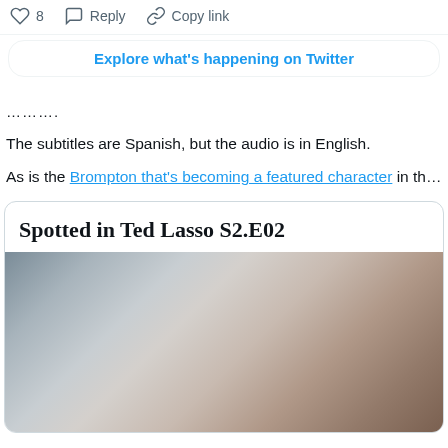♡ 8   Reply   Copy link
Explore what's happening on Twitter
…………
The subtitles are Spanish, but the audio is in English.
As is the Brompton that's becoming a featured character in the App
Spotted in Ted Lasso S2.E02
[Figure (photo): Blurred/out-of-focus photo, appears to be a bicycle or indoor scene with muted grey and brown tones]